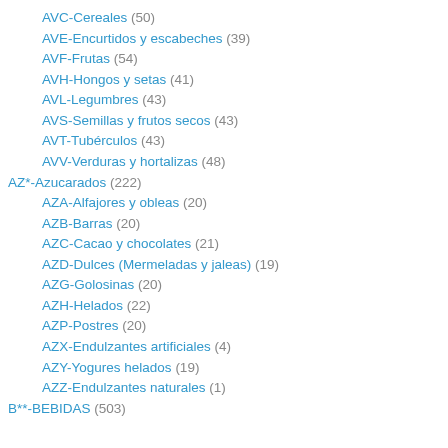AVC-Cereales (50)
AVE-Encurtidos y escabeches (39)
AVF-Frutas (54)
AVH-Hongos y setas (41)
AVL-Legumbres (43)
AVS-Semillas y frutos secos (43)
AVT-Tubérculos (43)
AVV-Verduras y hortalizas (48)
AZ*-Azucarados (222)
AZA-Alfajores y obleas (20)
AZB-Barras (20)
AZC-Cacao y chocolates (21)
AZD-Dulces (Mermeladas y jaleas) (19)
AZG-Golosinas (20)
AZH-Helados (22)
AZP-Postres (20)
AZX-Endulzantes artificiales (4)
AZY-Yogures helados (19)
AZZ-Endulzantes naturales (1)
B**-BEBIDAS (503)